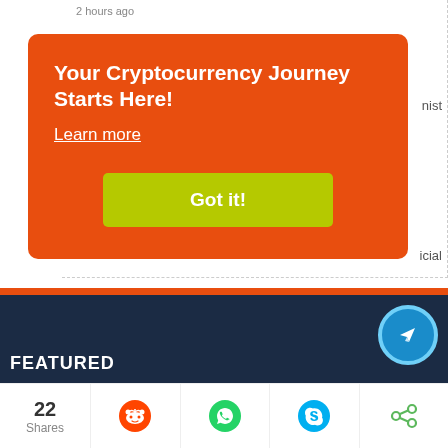2 hours ago
[Figure (infographic): Orange popup overlay with text 'Your Cryptocurrency Journey Starts Here!', 'Learn more' link, and a yellow-green 'Got it!' button]
Trezor and Wasabi Join Forces To Make Bitcoin More...
nist
icial
FEATURED
[Figure (photo): Photo of a man, appears to be in a studio or office setting, seen from shoulders up]
22 Shares
[Figure (logo): Reddit share icon (orange alien)]
[Figure (logo): WhatsApp share icon (green)]
[Figure (logo): Skype share icon (blue)]
[Figure (logo): Generic share icon (green)]